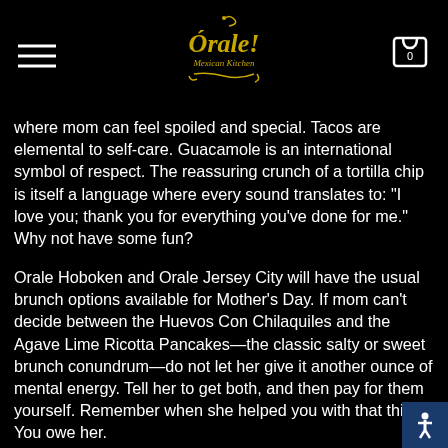Orale! Mexican Kitchen — navigation header with hamburger menu and cart icon
where mom can feel spoiled and special. Tacos are elemental to self-care. Guacamole is an international symbol of respect. The reassuring crunch of a tortilla chip is itself a language where every sound translates to: "I love you; thank you for everything you've done for me." Why not have some fun?
Orale Hoboken and Orale Jersey City will have the usual brunch options available for Mother's Day. If mom can't decide between the Huevos Con Chilaquiles and the Agave Lime Ricotta Pancakes—the classic salty or sweet brunch conundrum—do not let her give it another ounce of mental energy. Tell her to get both, and then pay for them yourself. Remember when she helped you with that thing? You owe her.